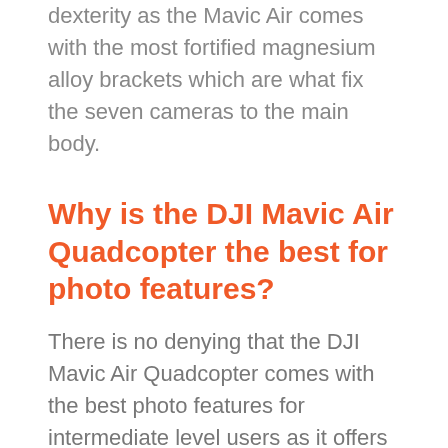dexterity as the Mavic Air comes with the most fortified magnesium alloy brackets which are what fix the seven cameras to the main body.
Why is the DJI Mavic Air Quadcopter the best for photo features?
There is no denying that the DJI Mavic Air Quadcopter comes with the best photo features for intermediate level users as it offers the most amazing 180-degree panoramas at both horizontal and vertical angles as well. The amazing best